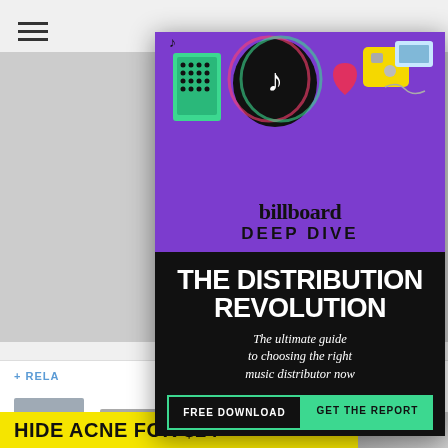[Figure (screenshot): Billboard Deep Dive promotional modal overlay on a webpage. Purple top section with social media icons (TikTok, etc.) and 'billboard DEEP DIVE' branding. Black bottom section with 'THE DISTRIBUTION REVOLUTION' headline, subtitle 'The ultimate guide to choosing the right music distributor now', and two buttons: 'FREE DOWNLOAD' and 'GET THE REPORT'. Background shows a webpage with hamburger menu, a photo, related articles section, and a yellow ad strip at bottom reading 'HIDE ACNE FOR $24'.]
billboard DEEP DIVE
THE DISTRIBUTION REVOLUTION
The ultimate guide to choosing the right music distributor now
FREE DOWNLOAD
GET THE REPORT
HIDE ACNE FOR $24